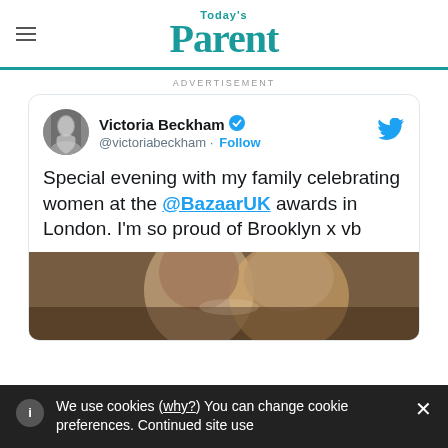Today's Parent
ADVERTISEMENT
[Figure (screenshot): Embedded tweet from Victoria Beckham (@victoriabeckham) with verified badge and Follow button. Tweet text: 'Special evening with my family celebrating women at the @BazaarUK awards in London. I'm so proud of Brooklyn x vb'. Includes a photo of two people about to kiss.]
We use cookies (why?) You can change cookie preferences. Continued site use